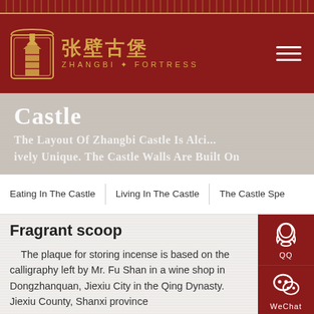[Figure (logo): Zhangbi Fortress website header with logo, Chinese characters, and ZHANGBI FORTRESS text on dark red background]
[Figure (screenshot): Castle section banner with white text 'Castle' and subtitle text about the layout of Zhangbi Castle]
Eating In The Castle | Living In The Castle | The Castle Spe...
Fragrant scoop
The plaque for storing incense is based on the calligraphy left by Mr. Fu Shan in a wine shop in Dongzhanquan, Jiexiu City in the Qing Dynasty. Jiexiu County, Shanxi province ("Kongzi Yixian, Qi..."